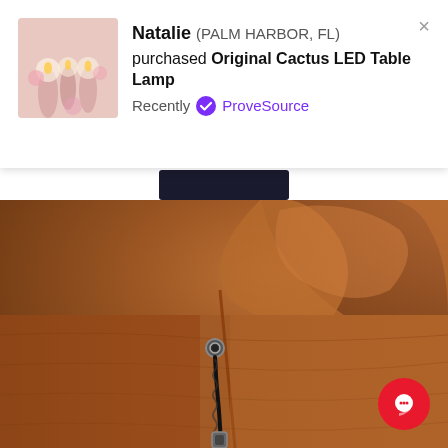[Figure (screenshot): ProveSource notification popup showing Natalie from Palm Harbor FL purchased Original Cactus LED Table Lamp, Recently verified by ProveSource. Thumbnail shows pink candles/decorations. Has a close X button top right.]
[Figure (photo): Close-up photo of brown leather car seat headrest with black braided cord/strap threaded through a metal grommet. Warm cognac/tan leather texture fills the frame.]